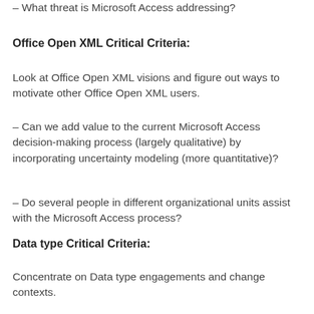– What threat is Microsoft Access addressing?
Office Open XML Critical Criteria:
Look at Office Open XML visions and figure out ways to motivate other Office Open XML users.
– Can we add value to the current Microsoft Access decision-making process (largely qualitative) by incorporating uncertainty modeling (more quantitative)?
– Do several people in different organizational units assist with the Microsoft Access process?
Data type Critical Criteria:
Concentrate on Data type engagements and change contexts.